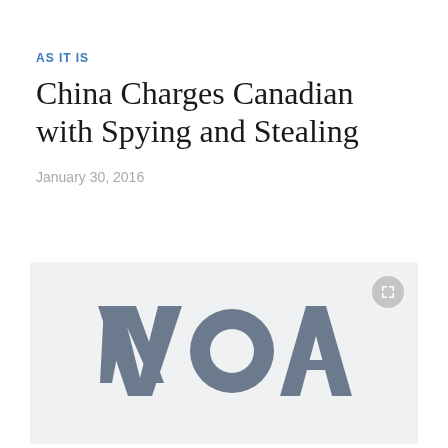AS IT IS
China Charges Canadian with Spying and Stealing
January 30, 2016
[Figure (logo): VOA (Voice of America) logo in grey on a light grey background, with an expand/fullscreen button in the top right corner]